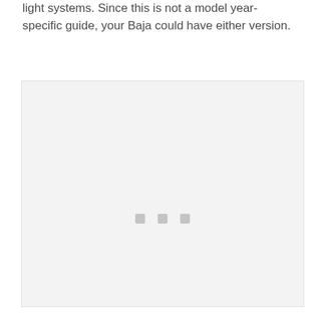light systems. Since this is not a model year-specific guide, your Baja could have either version.
[Figure (photo): A large light gray placeholder image box with three small gray square dots centered near the bottom.]